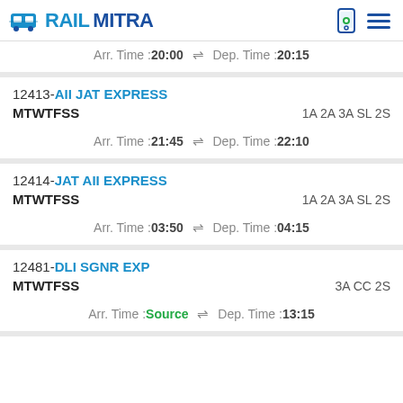RAILMITRA
Arr. Time :20:00 ⇌ Dep. Time :20:15
12413-AII JAT EXPRESS MTWTFSS 1A 2A 3A SL 2S Arr. Time :21:45 ⇌ Dep. Time :22:10
12414-JAT AII EXPRESS MTWTFSS 1A 2A 3A SL 2S Arr. Time :03:50 ⇌ Dep. Time :04:15
12481-DLI SGNR EXP MTWTFSS 3A CC 2S Arr. Time :Source ⇌ Dep. Time :13:15